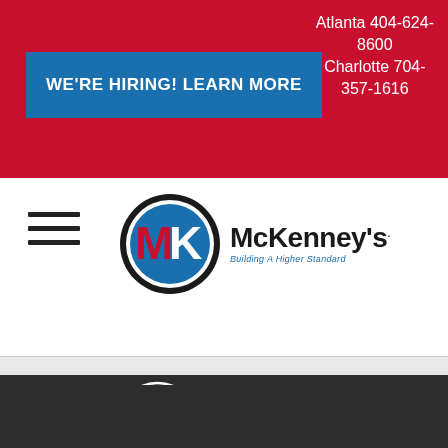Atlanta 404-624-8600
Charlotte 704-357-1616
WE'RE HIRING! LEARN MORE
[Figure (logo): McKenney's Inc. logo with MK circular emblem and tagline 'Building A Higher Standard' - colored version on white background]
[Figure (logo): McKenney's Inc. logo with MK circular emblem and tagline 'Building A Higher Standard' - white/monochrome version on dark background]
ATLANTA OFFICE
1056 Moreland Industrial Boulevard